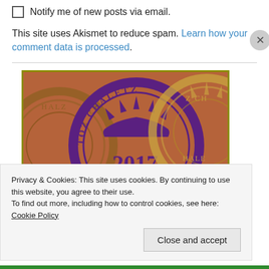Notify me of new posts via email.
This site uses Akismet to reduce spam. Learn how your comment data is processed.
[Figure (illustration): Circular stamp-like design showing 'TOZ CHALETZ' text arranged in a circle with the year 2017 in the center, on a brown/copper background with golden border. Multiple overlapping circular stamps visible.]
Privacy & Cookies: This site uses cookies. By continuing to use this website, you agree to their use.
To find out more, including how to control cookies, see here: Cookie Policy
Close and accept